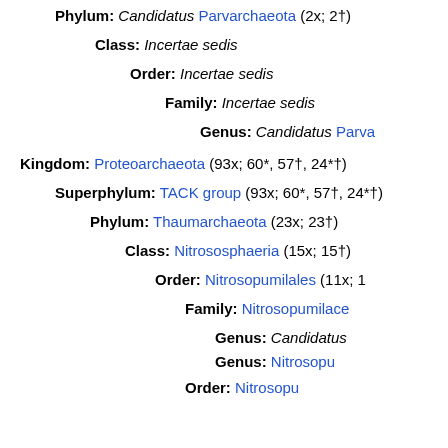Phylum: Candidatus Parvarchaeota (2x; 2†)
Class: Incertae sedis
Order: Incertae sedis
Family: Incertae sedis
Genus: Candidatus Parva…
Kingdom: Proteoarchaeota (93x; 60*, 57†, 24*†)
Superphylum: TACK group (93x; 60*, 57†, 24*†)
Phylum: Thaumarchaeota (23x; 23†)
Class: Nitrososphaeria (15x; 15†)
Order: Nitrosopumilales (11x; 1…
Family: Nitrosopumilace…
Genus: Candidatus…
Genus: Nitrosopu…
Order: Nitrosopu…